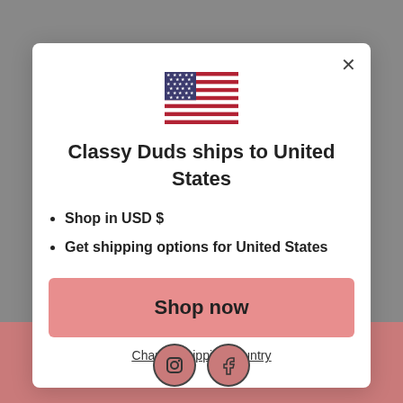[Figure (illustration): US flag emoji/icon centered at top of modal dialog]
Classy Duds ships to United States
Shop in USD $
Get shipping options for United States
Shop now
Change shipping country